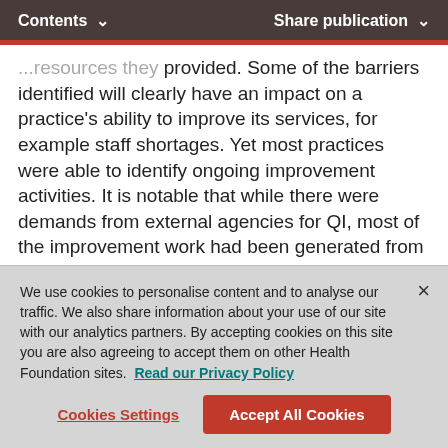Contents   Share publication
provided. Some of the barriers identified will clearly have an impact on a practice's ability to improve its services, for example staff shortages. Yet most practices were able to identify ongoing improvement activities. It is notable that while there were demands from external agencies for QI, most of the improvement work had been generated from within practices. So, whatever the current barriers are, improvement work is happening in
We use cookies to personalise content and to analyse our traffic. We also share information about your use of our site with our analytics partners. By accepting cookies on this site you are also agreeing to accept them on other Health Foundation sites. Read our Privacy Policy
Cookies Settings   Accept All Cookies